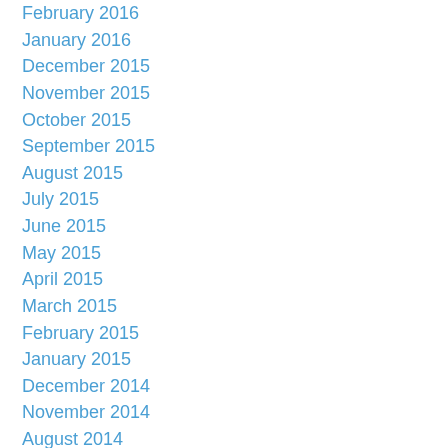February 2016
January 2016
December 2015
November 2015
October 2015
September 2015
August 2015
July 2015
June 2015
May 2015
April 2015
March 2015
February 2015
January 2015
December 2014
November 2014
August 2014
July 2014
June 2014
May 2014
April 2014